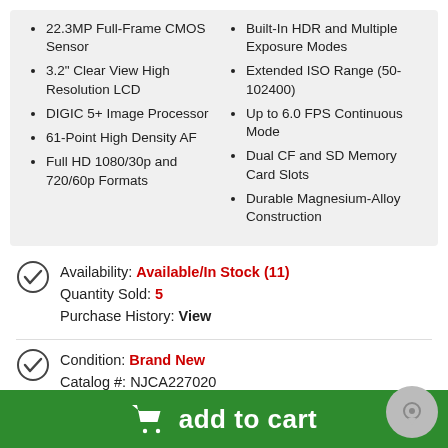22.3MP Full-Frame CMOS Sensor
3.2" Clear View High Resolution LCD
DIGIC 5+ Image Processor
61-Point High Density AF
Full HD 1080/30p and 720/60p Formats
Built-In HDR and Multiple Exposure Modes
Extended ISO Range (50-102400)
Up to 6.0 FPS Continuous Mode
Dual CF and SD Memory Card Slots
Durable Magnesium-Alloy Construction
Availability: Available/In Stock (11)
Quantity Sold: 5
Purchase History: View
Condition: Brand New
Catalog #: NJCA227020
add to cart